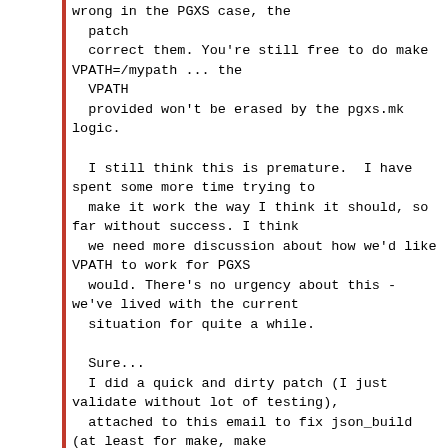wrong in the PGXS case, the
  patch
  correct them. You're still free to do make VPATH=/mypath ... the
  VPATH
  provided won't be erased by the pgxs.mk logic.

  I still think this is premature.  I have spent some more time trying to
  make it work the way I think it should, so far without success. I think
  we need more discussion about how we'd like VPATH to work for PGXS
  would. There's no urgency about this - we've lived with the current
  situation for quite a while.

  Sure...
  I did a quick and dirty patch (I just validate without lot of testing),
  attached to this email to fix json_build
(at least for make, make